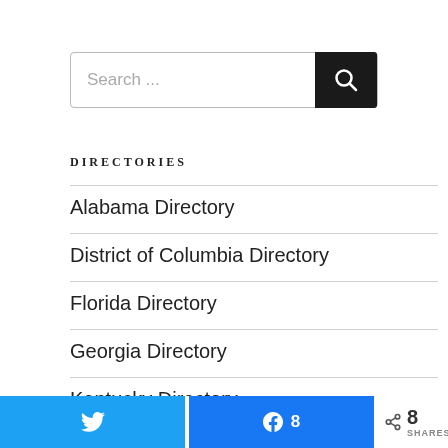[Figure (other): Search bar with text input placeholder 'Search ...' and a dark search button with magnifying glass icon]
DIRECTORIES
Alabama Directory
District of Columbia Directory
Florida Directory
Georgia Directory
Kentucky Directory
[Figure (other): Social share bar with Twitter button, Facebook button showing 8 shares, and share icon with 8 SHARES total]